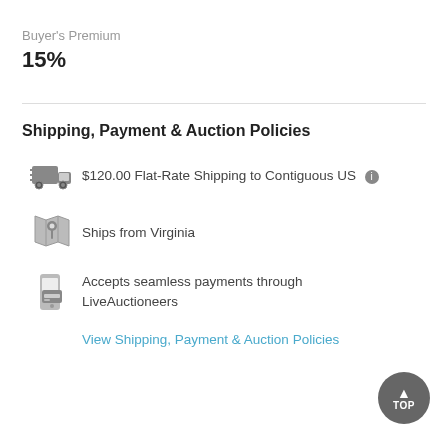Buyer's Premium
15%
Shipping, Payment & Auction Policies
$120.00 Flat-Rate Shipping to Contiguous US
Ships from Virginia
Accepts seamless payments through LiveAuctioneers
View Shipping, Payment & Auction Policies